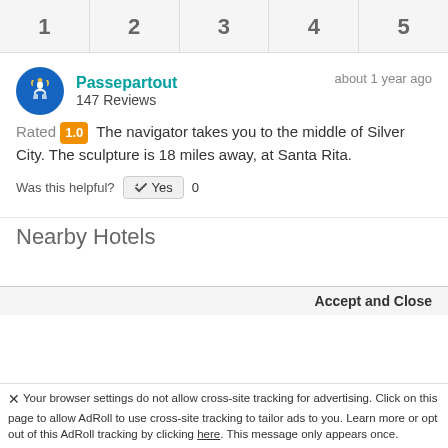[Figure (other): Rating tabs row showing numbers 1 through 5 in gray boxes]
Passepartout
147 Reviews
about 1 year ago
Rated 1.0 The navigator takes you to the middle of Silver City. The sculpture is 18 miles away, at Santa Rita.
Was this helpful? Yes 0
Nearby Hotels
This website uses cookies to enhance user experience and to analyze performance and traffic on our website. We also share information about your use of our site with our social media and analytics partners. Roadtrippers Privacy/Cookie Policy
Accept and Close
Your browser settings do not allow cross-site tracking for advertising. Click on this page to allow AdRoll to use cross-site tracking to tailor ads to you. Learn more or opt out of this AdRoll tracking by clicking here. This message only appears once.